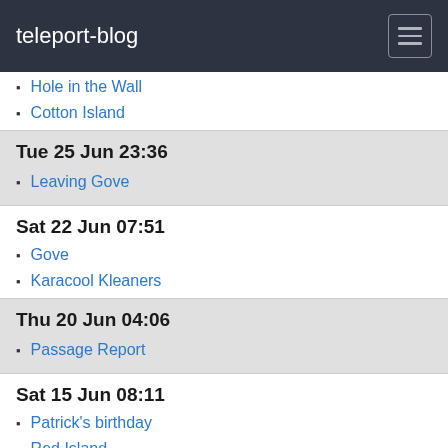teleport-blog
Hole in the Wall
Cotton Island
Tue 25 Jun 23:36
Leaving Gove
Sat 22 Jun 07:51
Gove
Karacool Kleaners
Thu 20 Jun 04:06
Passage Report
Sat 15 Jun 08:11
Patrick's birthday
Red Island
Flora and Fauna on the walk
Blue Lagoon
Route march
Cook's Lookout
Fri 14 Jun 02:39